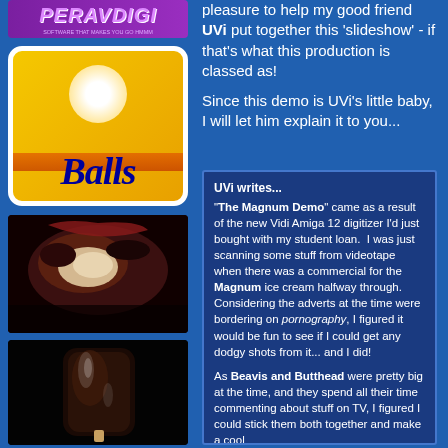[Figure (logo): PERAVDIGI logo - purple/magenta gradient with stylized text, subtitle 'SOFTWARE THAT MAKES YOU GO HMMM']
[Figure (illustration): Balls logo - yellow/gold rounded rectangle with white sun, orange horizon, blue cursive 'Balls' text]
pleasure to help my good friend UVi put together this 'slideshow' - if that's what this production is classed as!

Since this demo is UVi's little baby, I will let him explain it to you...
[Figure (photo): Close-up photo of a Magnum ice cream bar being bitten into, showing chocolate coating and ice cream interior]
[Figure (photo): Dark photo of a Magnum ice cream bar showing chocolate coating with reflective surface]
UVi writes...
"The Magnum Demo" came as a result of the new Vidi Amiga 12 digitizer I'd just bought with my student loan. I was just scanning some stuff from videotape when there was a commercial for the Magnum ice cream halfway through. Considering the adverts at the time were bordering on pornography, I figured it would be fun to see if I could get any dodgy shots from it... and I did!

As Beavis and Butthead were pretty big at the time, and they spend all their time commenting about stuff on TV, I figured I could stick them both together and make a cool